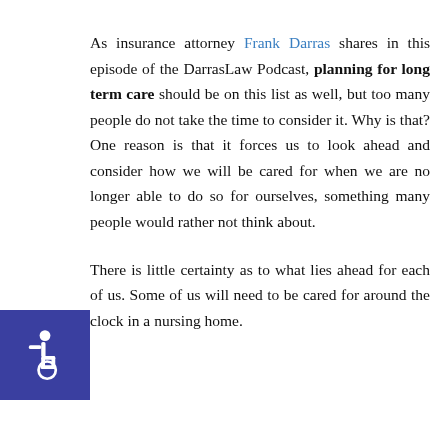As insurance attorney Frank Darras shares in this episode of the DarrasLaw Podcast, planning for long term care should be on this list as well, but too many people do not take the time to consider it. Why is that? One reason is that it forces us to look ahead and consider how we will be cared for when we are no longer able to do so for ourselves, something many people would rather not think about.
[Figure (illustration): Accessibility icon — white wheelchair symbol on a dark blue square background]
There is little certainty as to what lies ahead for each of us. Some of us will need to be cared for around the clock in a nursing home.